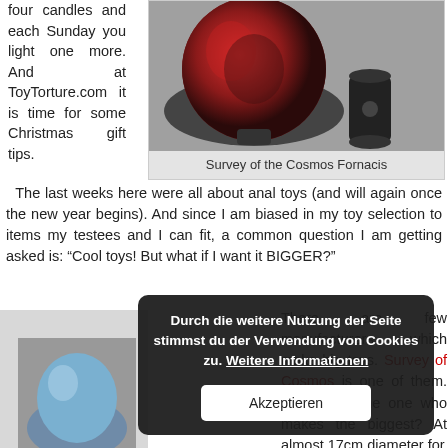four candles and each Sunday you light one more. And at ToyTorture.com it is time for some Christmas gift tips.
[Figure (photo): Photo of two objects: a large red/black decorative bulb-shaped toy on the left and a smaller black cylindrical object on the right, against a grey background]
Survey of the Cosmos Fornacis
The last weeks here were all about anal toys (and will again once the new year begins). And since I am biased in my toy selection to items my testees and I can fit, a common question I am getting asked is: “Cool toys! But what if I want it BIGGER?”
[Figure (photo): Partial photo visible on left side showing a blue object, background grey]
There are few manufacturers which make big toys. Survey of Cosmos is one of them. dare I say the one who makes the biggest? At almost 17cm diameter for
Durch die weitere Nutzung der Seite stimmst du der Verwendung von Cookies zu. Weitere Informationen
Akzeptieren